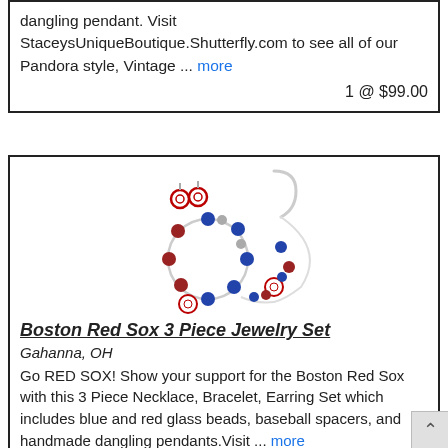dangling pendant. Visit StaceysUniqueBoutique.Shutterfly.com to see all of our Pandora style, Vintage ... more
1 @ $99.00
[Figure (photo): Photo of a Boston Red Sox 3 Piece Jewelry Set showing a bracelet and necklace with blue and red glass beads, baseball spacers, and dangling pendants, along with small hoop earrings.]
Boston Red Sox 3 Piece Jewelry Set
Gahanna, OH
Go RED SOX! Show your support for the Boston Red Sox with this 3 Piece Necklace, Bracelet, Earring Set which includes blue and red glass beads, baseball spacers, and handmade dangling pendants.Visit ... more